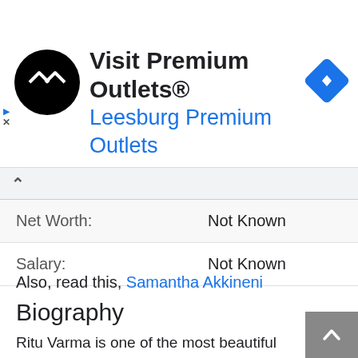[Figure (screenshot): Advertisement banner for Visit Premium Outlets® - Leesburg Premium Outlets, with a black circular logo with white arrows, text, and a blue navigation diamond icon]
| Net Worth: | Not Known |
| Salary: | Not Known |
Also, read this, Samantha Akkineni
Biography
Ritu Varma is one of the most beautiful actresses from south India. She has made an appearance in several hit movies in south Indian languages. She was born and brought